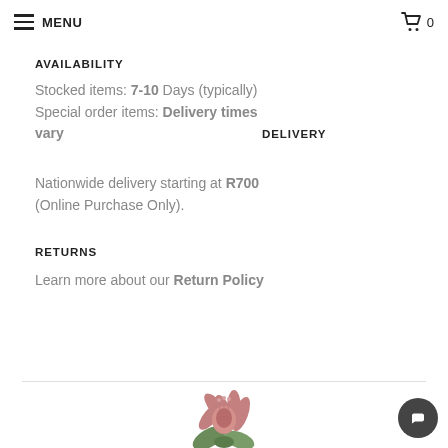≡ MENU  🛒 0
AVAILABILITY
Stocked items: 7-10 Days (typically)
Special order items: Delivery times vary
DELIVERY
Nationwide delivery starting at R700 (Online Purchase Only).
RETURNS
Learn more about our Return Policy
[Figure (photo): Protea flower at the bottom of the page]
[Figure (other): Chat button icon in bottom right corner]